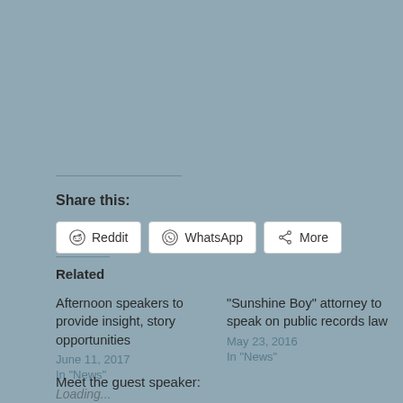Share this:
Reddit | WhatsApp | More
Loading...
Related
Afternoon speakers to provide insight, story opportunities
June 11, 2017
In "News"
“Sunshine Boy” attorney to speak on public records law
May 23, 2016
In "News"
Meet the guest speaker: